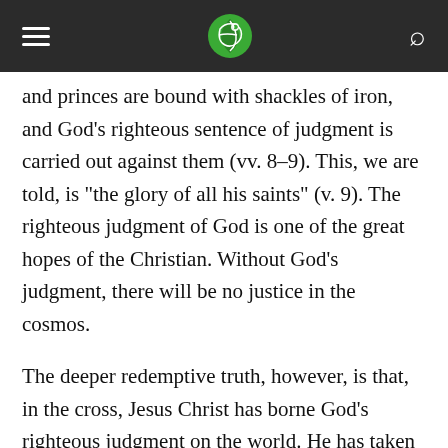[hamburger menu] [logo] [search icon]
and princes are bound with shackles of iron, and God’s righteous sentence of judgment is carried out against them (vv. 8–9). This, we are told, is “the glory of all his saints” (v. 9). The righteous judgment of God is one of the great hopes of the Christian. Without God’s judgment, there will be no justice in the cosmos.
The deeper redemptive truth, however, is that, in the cross, Jesus Christ has borne God’s righteous judgment on the world. He has taken on himself all the punishment that we deserve. The scales of God’s justice have been balanced on the cross.